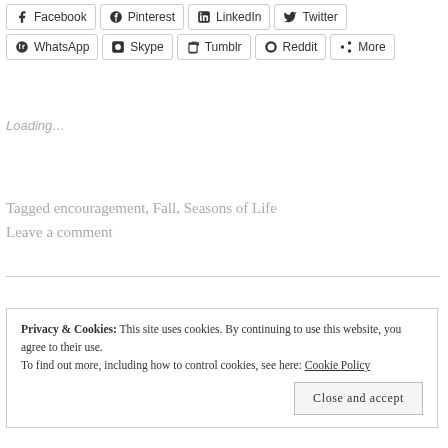Facebook
Pinterest
LinkedIn
Twitter
WhatsApp
Skype
Tumblr
Reddit
More
Loading...
Tagged encouragement, Fall, Seasons of Life
Leave a comment
Privacy & Cookies: This site uses cookies. By continuing to use this website, you agree to their use.
To find out more, including how to control cookies, see here: Cookie Policy
Close and accept